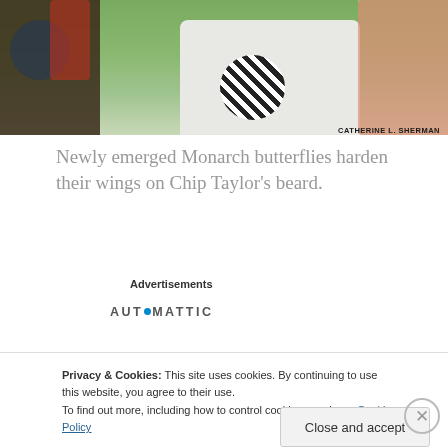[Figure (photo): Photo of Monarch butterflies on a person's beard, with crowd in background. Credit: CATHERINE L. SHERMAN]
Newly emerged Monarch butterflies harden their wings on Chip Taylor's beard.
Advertisements
[Figure (logo): Automattic logo]
[Figure (photo): Partial photo of outdoor scene with greenery, bottom of page]
Privacy & Cookies: This site uses cookies. By continuing to use this website, you agree to their use.
To find out more, including how to control cookies, see here: Cookie Policy
Close and accept